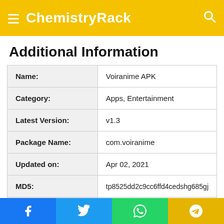ChemistryRack
Additional Information
| Field | Value |
| --- | --- |
| Name: | Voiranime APK |
| Category: | Apps, Entertainment |
| Latest Version: | v1.3 |
| Package Name: | com.voiranime |
| Updated on: | Apr 02, 2021 |
| MD5: | tp8525dd2c9cc6ffd4cedshg685gj |
| Requirements: | Android 4.1+ |